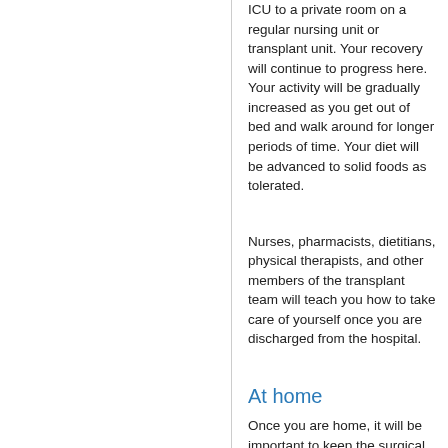ICU to a private room on a regular nursing unit or transplant unit. Your recovery will continue to progress here. Your activity will be gradually increased as you get out of bed and walk around for longer periods of time. Your diet will be advanced to solid foods as tolerated.
Nurses, pharmacists, dietitians, physical therapists, and other members of the transplant team will teach you how to take care of yourself once you are discharged from the hospital.
At home
Once you are home, it will be important to keep the surgical area clean and dry. Your doctor will give you specific instructions